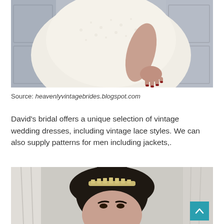[Figure (photo): Close-up photo of a woman in a vintage white lace wedding dress, hand resting on the skirt, set against a light blue panelled door background]
Source: heavenlyvintagebrides.blogspot.com
David's bridal offers a unique selection of vintage wedding dresses, including vintage lace styles. We can also supply patterns for men including jackets,.
[Figure (photo): Photo of a bride with dark upswept hair, wearing a rhinestone tiara/headband, photographed near curtained windows]